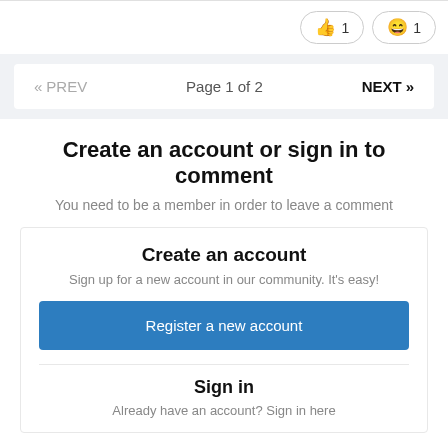[Figure (other): Two reaction buttons: thumbs up with count 1, and laughing emoji with count 1]
« PREV   Page 1 of 2   NEXT »
Create an account or sign in to comment
You need to be a member in order to leave a comment
Create an account
Sign up for a new account in our community. It's easy!
Register a new account
Sign in
Already have an account? Sign in here